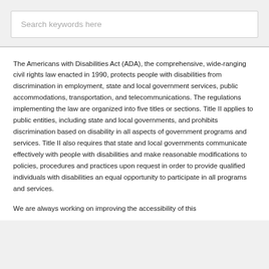[Figure (screenshot): Search box with placeholder text 'Search keywords here']
The Americans with Disabilities Act (ADA), the comprehensive, wide-ranging civil rights law enacted in 1990, protects people with disabilities from discrimination in employment, state and local government services, public accommodations, transportation, and telecommunications. The regulations implementing the law are organized into five titles or sections. Title II applies to public entities, including state and local governments, and prohibits discrimination based on disability in all aspects of government programs and services. Title II also requires that state and local governments communicate effectively with people with disabilities and make reasonable modifications to policies, procedures and practices upon request in order to provide qualified individuals with disabilities an equal opportunity to participate in all programs and services.
We are always working on improving the accessibility of this